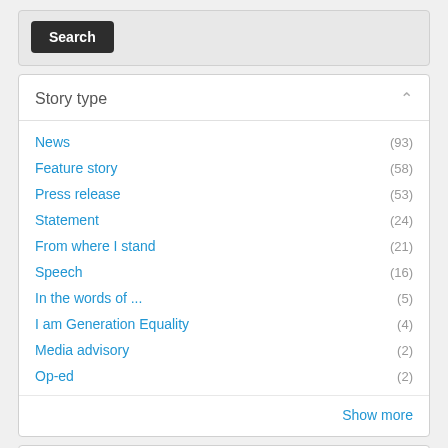Search
Story type
News (93)
Feature story (58)
Press release (53)
Statement (24)
From where I stand (21)
Speech (16)
In the words of ... (5)
I am Generation Equality (4)
Media advisory (2)
Op-ed (2)
Show more
Topic